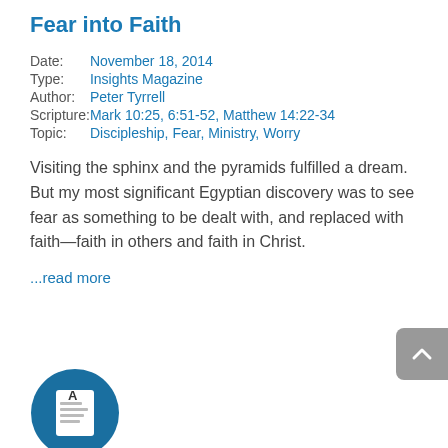Fear into Faith
Date:  November 18, 2014
Type:  Insights Magazine
Author:  Peter Tyrrell
Scripture:   Mark 10:25, 6:51-52, Matthew 14:22-34
Topic:  Discipleship, Fear, Ministry, Worry
Visiting the sphinx and the pyramids fulfilled a dream. But my most significant Egyptian discovery was to see fear as something to be dealt with, and replaced with faith—faith in others and faith in Christ.
...read more
[Figure (logo): A circular dark blue icon with a document/letter icon containing the letter A]